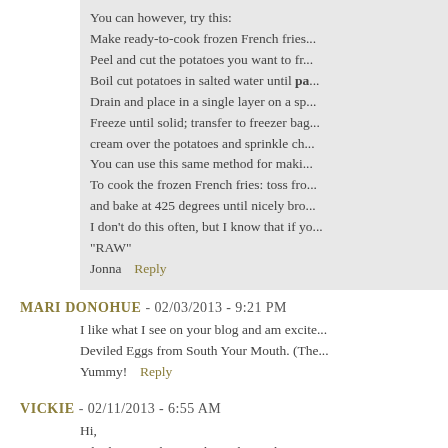You can however, try this:
Make ready-to-cook frozen French fries...
Peel and cut the potatoes you want to fr...
Boil cut potatoes in salted water until partially...
Drain and place in a single layer on a sp...
Freeze until solid; transfer to freezer bag...
cream over the potatoes and sprinkle ch...
You can use this same method for maki...
To cook the frozen French fries: toss fro...
and bake at 425 degrees until nicely bro...
I don't do this often, but I know that if yo...
"RAW"
Jonna   Reply
MARI DONOHUE - 02/03/2013 - 9:21 PM
I like what I see on your blog and am excite...
Deviled Eggs from South Your Mouth. (The...
Yummy!   Reply
VICKIE - 02/11/2013 - 6:55 AM
Hi,
I do the same thing without cheese, but wit...
too!   Reply
LINDA - 02/13/2013 - 9:50 AM
You weren't kidding, these were delicious! ...
LILY - 02/16/2013 - 11:01 AM